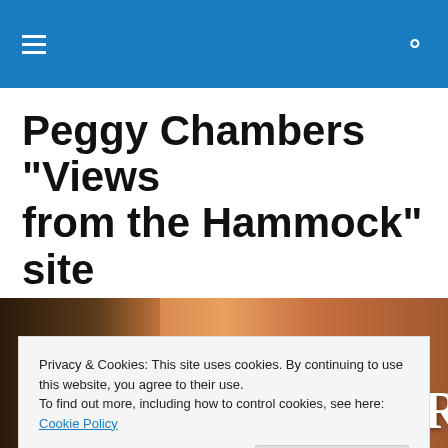Navigation bar with hamburger menu and search icon
Peggy Chambers "Views from the Hammock" site
A fine WordPress.com site
[Figure (illustration): Banner image for Peggy Chambers with text 'Expect the Unexpected' in italic script over a sunset background, with 'PEGGY CHAMBERS' in large display type on the right side]
Privacy & Cookies: This site uses cookies. By continuing to use this website, you agree to their use.
To find out more, including how to control cookies, see here: Cookie Policy
Close and accept